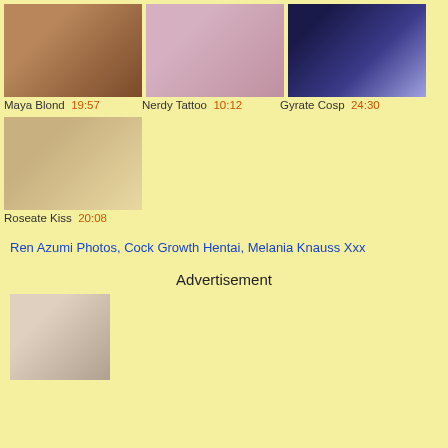[Figure (photo): Thumbnail image 1 - Maya Blond video]
[Figure (photo): Thumbnail image 2 - Nerdy Tattoo video]
[Figure (photo): Thumbnail image 3 - Gyrate Cosp video]
Maya Blond 19:57   Nerdy Tattoo 10:12   Gyrate Cosp 24:30
[Figure (photo): Thumbnail image 4 - Roseate Kiss video]
Roseate Kiss 20:08
Ren Azumi Photos, Cock Growth Hentai, Melania Knauss Xxx
Advertisement
[Figure (photo): Bottom advertisement thumbnail image]